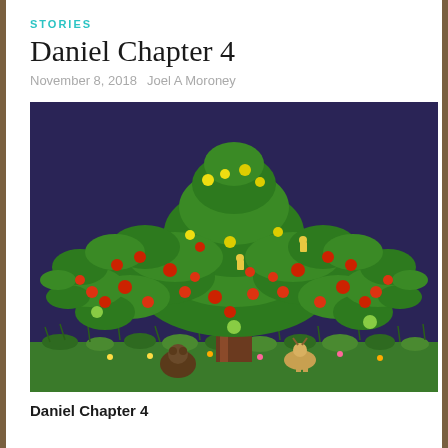STORIES
Daniel Chapter 4
November 8, 2018   Joel A Moroney
[Figure (photo): A LEGO model of a large, lush tree built from green LEGO pieces with red, yellow, and green fruit/flowers throughout the branches. Small LEGO animal figures (a bear and a deer) sit at the base of the brown trunk, surrounded by green grass pieces and small flowers on a dark blue/purple background.]
Daniel Chapter 4